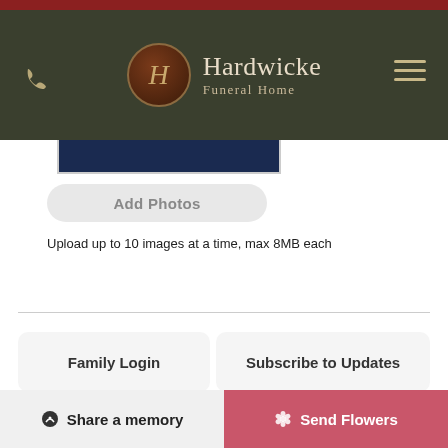[Figure (logo): Hardwicke Funeral Home logo with dark green header, circular emblem with stylized H, phone icon on left, hamburger menu icon on right]
[Figure (photo): Partial photo thumbnail visible at the top of content area]
Add Photos
Upload up to 10 images at a time, max 8MB each
Family Login
Subscribe to Updates
Share a memory
Send Flowers